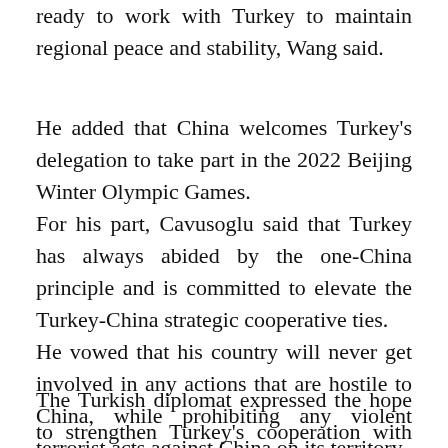ready to work with Turkey to maintain regional peace and stability, Wang said.
He added that China welcomes Turkey's delegation to take part in the 2022 Beijing Winter Olympic Games.
For his part, Cavusoglu said that Turkey has always abided by the one-China principle and is committed to elevate the Turkey-China strategic cooperative ties.
He vowed that his country will never get involved in any actions that are hostile to China, while prohibiting any violent terrorist acts against China on its territory.
The Turkish diplomat expressed the hope to strengthen Turkey's cooperation with China on